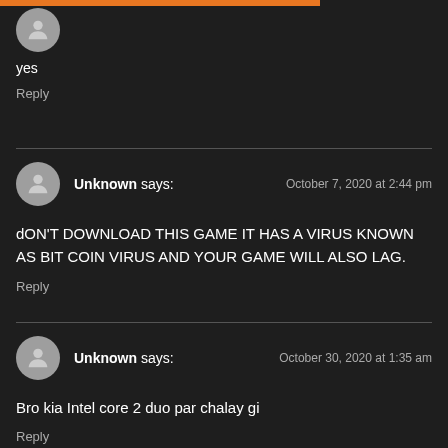yes
Reply
Unknown says: October 7, 2020 at 2:44 pm
dON'T DOWNLOAD THIS GAME IT HAS A VIRUS KNOWN AS BIT COIN VIRUS AND YOUR GAME WILL ALSO LAG.
Reply
Unknown says: October 30, 2020 at 1:35 am
Bro kia Intel core 2 duo par chalay gi
Reply